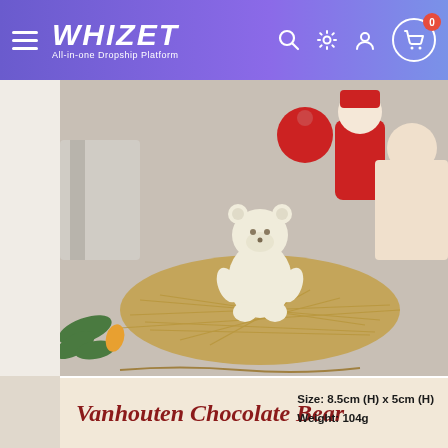WHIZET All-in-one Dropship Platform
[Figure (photo): White chocolate bear figurine sitting on straw nest with Christmas-themed toys (Santa Claus figurines) in background, gift wrap and pine branches visible]
Vanhouten Chocolate Bear
[Figure (photo): Close-up of white chocolate bear head/face resting on straw, on a wooden background. Size: 8.5cm (H) x 5cm (H), Weight: 104g]